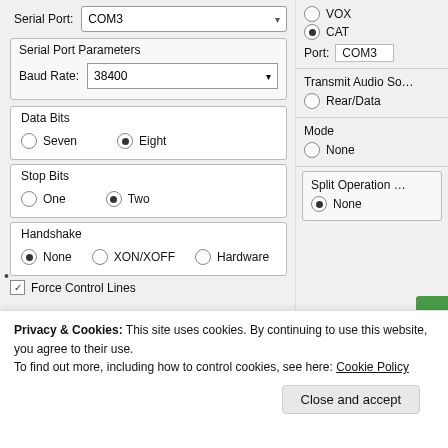[Figure (screenshot): Serial port configuration UI panel showing Serial Port dropdown set to COM3, Serial Port Parameters with Baud Rate 38400, Data Bits radio buttons (Seven/Eight with Eight selected), Stop Bits radio buttons (One/Two with Two selected), Handshake radio buttons (None selected, XON/XOFF, Hardware), and a Force Control Lines checkbox. Right panel shows VOX/CAT radio buttons with CAT selected, Port COM3, Transmit Audio Source, Rear/Data, Mode None, and Split Operation None.]
Privacy & Cookies: This site uses cookies. By continuing to use this website, you agree to their use.
To find out more, including how to control cookies, see here: Cookie Policy
Close and accept